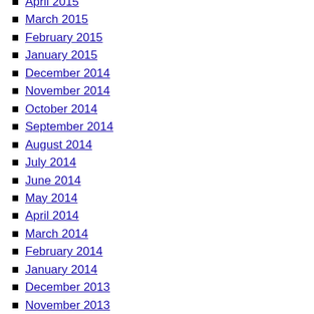April 2015
March 2015
February 2015
January 2015
December 2014
November 2014
October 2014
September 2014
August 2014
July 2014
June 2014
May 2014
April 2014
March 2014
February 2014
January 2014
December 2013
November 2013
October 2013
September 2013
August 2013
July 2013
June 2013
May 2013
April 2013